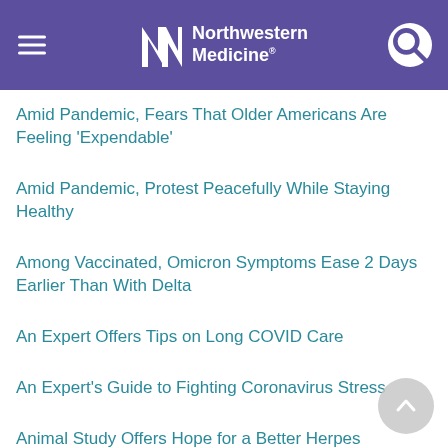Northwestern Medicine
Amid Pandemic, Fears That Older Americans Are Feeling 'Expendable'
Amid Pandemic, Protest Peacefully While Staying Healthy
Among Vaccinated, Omicron Symptoms Ease 2 Days Earlier Than With Delta
An Expert Offers Tips on Long COVID Care
An Expert's Guide to Fighting Coronavirus Stress
Animal Study Offers Hope for a Better Herpes Treatment
Animal Study Offers Hope for a Vaccine Against Lyme Disease
Animal Study Suggests COVID-19 Can Infect Testes